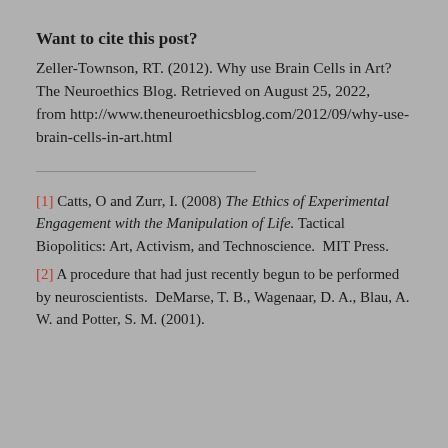Want to cite this post?
Zeller-Townson, RT. (2012). Why use Brain Cells in Art? The Neuroethics Blog. Retrieved on August 25, 2022, from http://www.theneuroethicsblog.com/2012/09/why-use-brain-cells-in-art.html
[1] Catts, O and Zurr, I. (2008) The Ethics of Experimental Engagement with the Manipulation of Life. Tactical Biopolitics: Art, Activism, and Technoscience. MIT Press.
[2] A procedure that had just recently begun to be performed by neuroscientists. DeMarse, T. B., Wagenaar, D. A., Blau, A. W. and Potter, S. M. (2001).